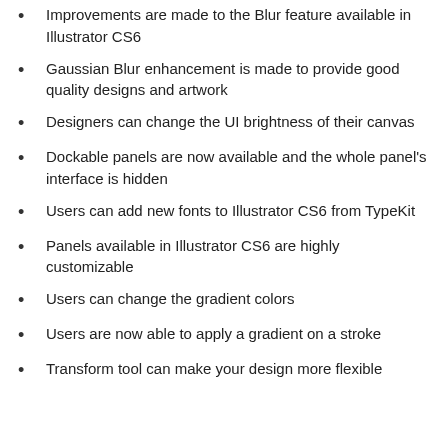Improvements are made to the Blur feature available in Illustrator CS6
Gaussian Blur enhancement is made to provide good quality designs and artwork
Designers can change the UI brightness of their canvas
Dockable panels are now available and the whole panel's interface is hidden
Users can add new fonts to Illustrator CS6 from TypeKit
Panels available in Illustrator CS6 are highly customizable
Users can change the gradient colors
Users are now able to apply a gradient on a stroke
Transform tool can make your design more flexible